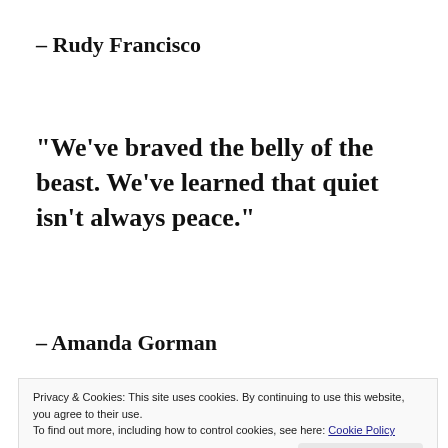– Rudy Francisco
“We’ve braved the belly of the beast. We’ve learned that quiet isn’t always peace.”
– Amanda Gorman
Privacy & Cookies: This site uses cookies. By continuing to use this website, you agree to their use.
To find out more, including how to control cookies, see here: Cookie Policy
Close and accept